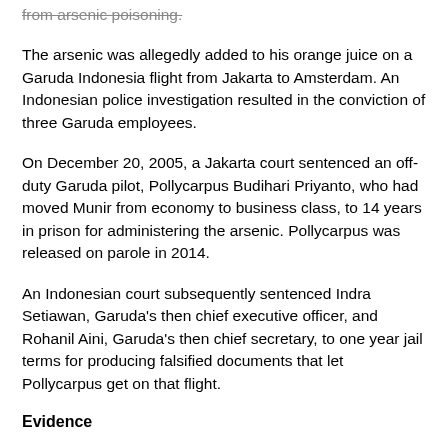from arsenic poisoning.
The arsenic was allegedly added to his orange juice on a Garuda Indonesia flight from Jakarta to Amsterdam. An Indonesian police investigation resulted in the conviction of three Garuda employees.
On December 20, 2005, a Jakarta court sentenced an off-duty Garuda pilot, Pollycarpus Budihari Priyanto, who had moved Munir from economy to business class, to 14 years in prison for administering the arsenic. Pollycarpus was released on parole in 2014.
An Indonesian court subsequently sentenced Indra Setiawan, Garuda's then chief executive officer, and Rohanil Aini, Garuda's then chief secretary, to one year jail terms for producing falsified documents that let Pollycarpus get on that flight.
Evidence
Despite those convictions, there is troubling evidence that the prosecutions of those three Garuda staff failed to